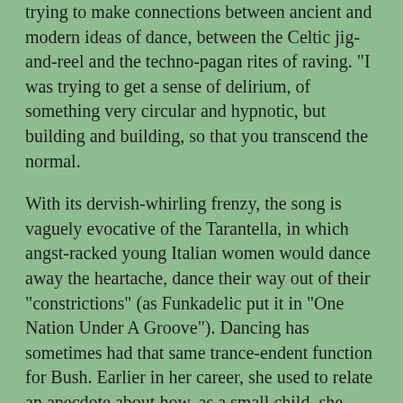trying to make connections between ancient and modern ideas of dance, between the Celtic jig-and-reel and the techno-pagan rites of raving. "I was trying to get a sense of delirium, of something very circular and hypnotic, but building and building, so that you transcend the normal.
With its dervish-whirling frenzy, the song is vaguely evocative of the Tarantella, in which angst-racked young Italian women would dance away the heartache, dance their way out of their "constrictions" (as Funkadelic put it in "One Nation Under A Groove"). Dancing has sometimes had that same trance-endent function for Bush. Earlier in her career, she used to relate an anecdote about how, as a small child, she would dance whenever pop music came on TV, quite unselfconsciously. But one day, some family friends saw her and laughed, shattering her innocence, and "from that moment I stopped doing it. I think maybe I've been trying to get back there ever since".
"I remember being incredibly unselfconscious," says Bush now, "but it wasn't that people laughed at me, so much that they came as an audience, and it made me self-conscious that